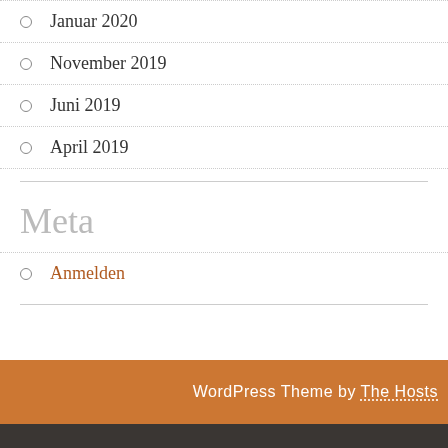Januar 2020
November 2019
Juni 2019
April 2019
Meta
Anmelden
WordPress Theme by The Hosts